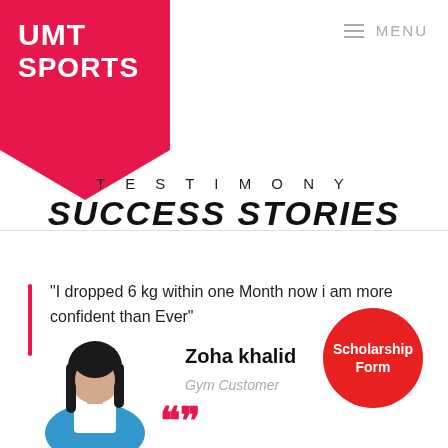UMT SPORTS
MENU
TESTIMONY
SUCCESS STORIES
"I dropped 6 kg within one Month now i am more confident than Ever"
[Figure (illustration): Illustrated female avatar with dark hair and blue jacket]
Zoha khalid
Gym Customer
Scholarship Form